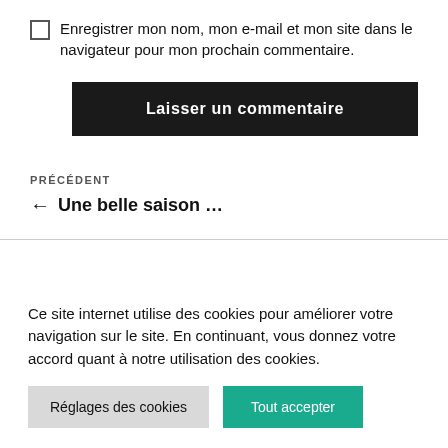Enregistrer mon nom, mon e-mail et mon site dans le navigateur pour mon prochain commentaire.
Laisser un commentaire
PRÉCÉDENT
← Une belle saison …
Ce site internet utilise des cookies pour améliorer votre navigation sur le site. En continuant, vous donnez votre accord quant à notre utilisation des cookies.
Réglages des cookies
Tout accepter